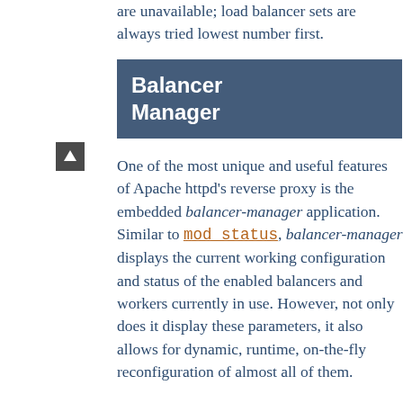are unavailable; load balancer sets are always tried lowest number first.
Balancer Manager
One of the most unique and useful features of Apache httpd's reverse proxy is the embedded balancer-manager application. Similar to mod_status, balancer-manager displays the current working configuration and status of the enabled balancers and workers currently in use. However, not only does it display these parameters, it also allows for dynamic, runtime, on-the-fly reconfiguration of almost all of them.